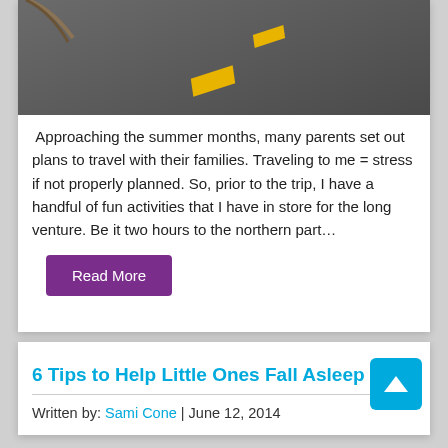[Figure (photo): A road surface viewed from above showing asphalt with yellow dashed lane markings against a dark gray/asphalt background.]
Approaching the summer months, many parents set out plans to travel with their families. Traveling to me = stress if not properly planned. So, prior to the trip, I have a handful of fun activities that I have in store for the long venture. Be it two hours to the northern part...
Read More
6 Tips to Help Little Ones Fall Asleep
Written by: Sami Cone | June 12, 2014